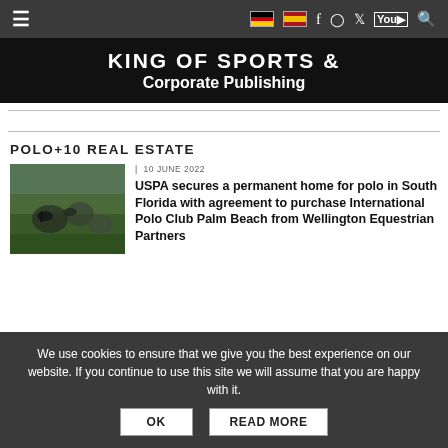≡  🇩🇪  🇪🇸  f  ◎  🐦  You  🔍
[Figure (illustration): Black banner with white bold text reading 'KING OF SPORTS & Corporate Publishing']
POLO+10 REAL ESTATE
[Figure (photo): Polo match crowd/action photo thumbnail]
| 10 JUNE 2022
USPA secures a permanent home for polo in South Florida with agreement to purchase International Polo Club Palm Beach from Wellington Equestrian Partners
We use cookies to ensure that we give you the best experience on our website. If you continue to use this site we will assume that you are happy with it.
OK    READ MORE